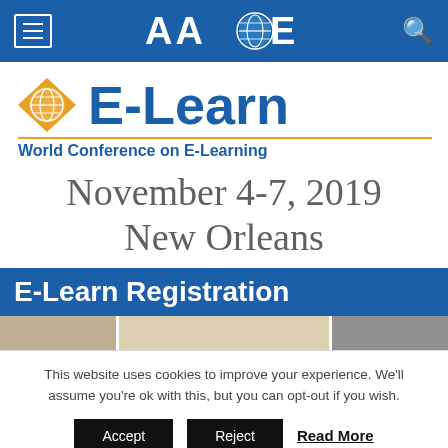AACE
[Figure (logo): E-Learn World Conference on E-Learning logo with orange diamond and globe icon]
November 4-7, 2019
New Orleans
E-Learn Registration
[Figure (photo): Three photo strip images from the conference]
This website uses cookies to improve your experience. We'll assume you're ok with this, but you can opt-out if you wish.